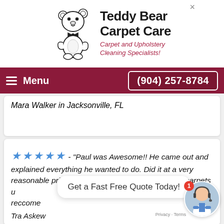[Figure (logo): Teddy Bear Carpet Care logo with illustrated teddy bear and company name text]
Menu | (904) 257-8784
Mara Walker in Jacksonville, FL
★★★★★ - "Paul was Awesome!! He came out and explained everything he wanted to do. Did it at a very reasonable price and my 9 year old builders grade carpets u... + L... reccome...
Tra Askew
Get a Fast Free Quote Today!